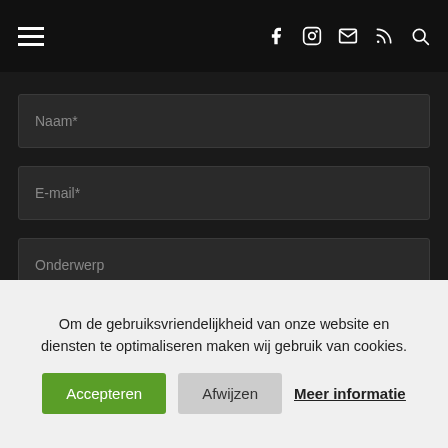Navigation header with hamburger menu and social icons (Facebook, Instagram, Email, RSS, Search)
Naam*
E-mail*
Onderwerp
Je vraag
Om de gebruiksvriendelijkheid van onze website en diensten te optimaliseren maken wij gebruik van cookies.
Accepteren
Afwijzen
Meer informatie